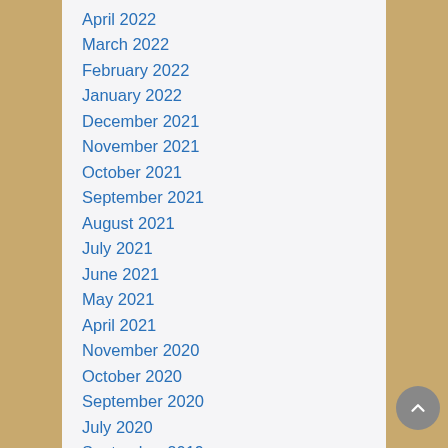April 2022
March 2022
February 2022
January 2022
December 2021
November 2021
October 2021
September 2021
August 2021
July 2021
June 2021
May 2021
April 2021
November 2020
October 2020
September 2020
July 2020
September 2019
April 2019
July 2018
May 2018